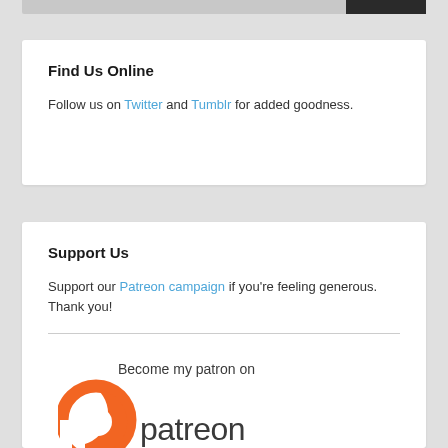Find Us Online
Follow us on Twitter and Tumblr for added goodness.
Support Us
Support our Patreon campaign if you're feeling generous. Thank you!
[Figure (logo): Patreon logo with 'Become my patron on' tagline, featuring orange circular P icon and dark patreon wordmark]